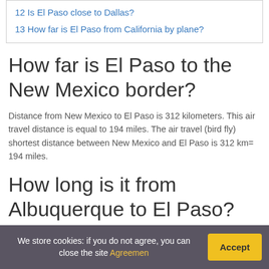12 Is El Paso close to Dallas?
13 How far is El Paso from California by plane?
How far is El Paso to the New Mexico border?
Distance from New Mexico to El Paso is 312 kilometers. This air travel distance is equal to 194 miles. The air travel (bird fly) shortest distance between New Mexico and El Paso is 312 km= 194 miles.
How long is it from Albuquerque to El Paso?
Driving directions from Albuquerque to El Paso. You will
We store cookies: if you do not agree, you can close the site Agreemen